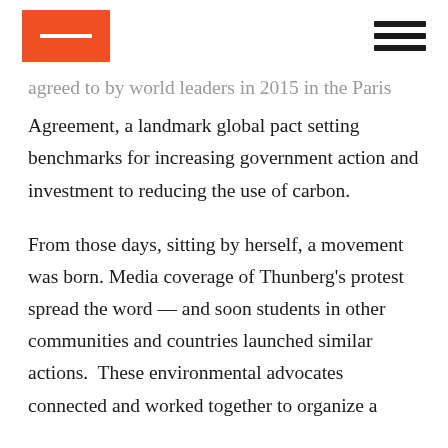[logo] [navigation menu]
agreed to by world leaders in 2015 in the Paris Agreement, a landmark global pact setting benchmarks for increasing government action and investment to reducing the use of carbon.
From those days, sitting by herself, a movement was born. Media coverage of Thunberg’s protest spread the word — and soon students in other communities and countries launched similar actions.  These environmental advocates connected and worked together to organize a